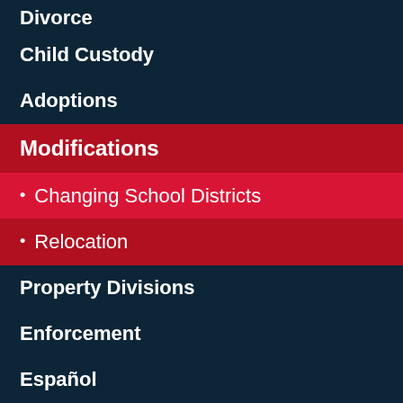Divorce
Child Custody
Adoptions
Modifications
• Changing School Districts
• Relocation
Property Divisions
Enforcement
Español